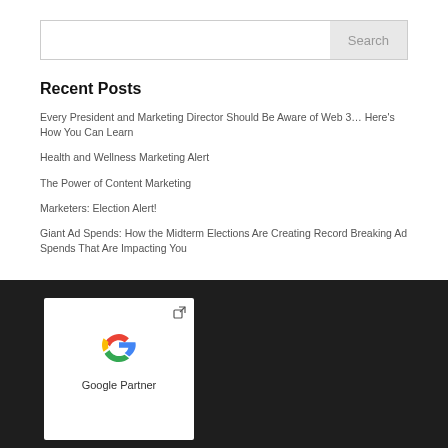[Figure (screenshot): Search bar with input field and Search button]
Recent Posts
Every President and Marketing Director Should Be Aware of Web 3… Here's How You Can Learn
Health and Wellness Marketing Alert
The Power of Content Marketing
Marketers: Election Alert!
Giant Ad Spends: How the Midterm Elections Are Creating Record Breaking Ad Spends That Are Impacting You
[Figure (logo): Google Partner logo with Google G icon on white card against dark background]